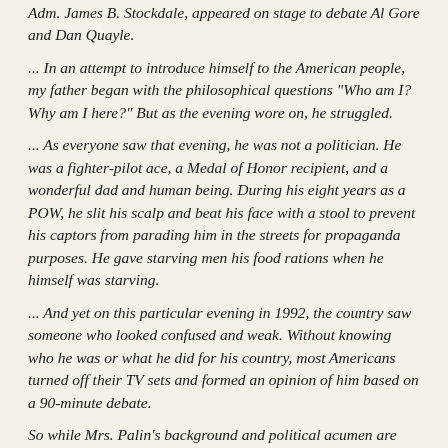Adm. James B. Stockdale, appeared on stage to debate Al Gore and Dan Quayle.
... In an attempt to introduce himself to the American people, my father began with the philosophical questions "Who am I? Why am I here?" But as the evening wore on, he struggled.
... As everyone saw that evening, he was not a politician. He was a fighter-pilot ace, a Medal of Honor recipient, and a wonderful dad and human being. During his eight years as a POW, he slit his scalp and beat his face with a stool to prevent his captors from parading him in the streets for propaganda purposes. He gave starving men his food rations when he himself was starving.
... And yet on this particular evening in 1992, the country saw someone who looked confused and weak. Without knowing who he was or what he did for his country, most Americans turned off their TV sets and formed an opinion of him based on a 90-minute debate.
So while Mrs. Palin's background and political acumen are completely different from my father's, she and her family are going through the same experience I once witnessed.